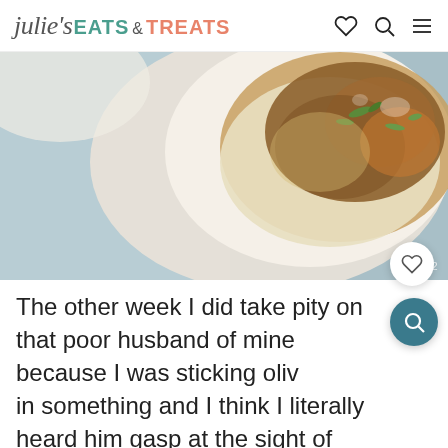julie's EATS & TREATS
[Figure (photo): A white bowl filled with a saucy dish topped with green onions, served over rice, shot from above at an angle on a blue-gray surface. Number 002 visible in lower right.]
The other week I did take pity on that poor husband of mine because I was sticking olives in something and I think I literally heard him gasp at the sight of them. I, on the other hand, eat olives straight out of the jar although I